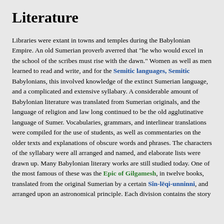Literature
Libraries were extant in towns and temples during the Babylonian Empire. An old Sumerian proverb averred that "he who would excel in the school of the scribes must rise with the dawn." Women as well as men learned to read and write, and for the Semitic languages, Semitic Babylonians, this involved knowledge of the extinct Sumerian language, and a complicated and extensive syllabary. A considerable amount of Babylonian literature was translated from Sumerian originals, and the language of religion and law long continued to be the old agglutinative language of Sumer. Vocabularies, grammars, and interlinear translations were compiled for the use of students, as well as commentaries on the older texts and explanations of obscure words and phrases. The characters of the syllabary were all arranged and named, and elaborate lists were drawn up. Many Babylonian literary works are still studied today. One of the most famous of these was the Epic of Gilgamesh, in twelve books, translated from the original Sumerian by a certain Sîn-lēqi-unninni, and arranged upon an astronomical principle. Each division contains the story...